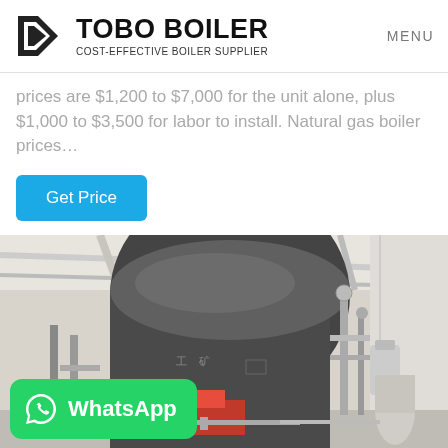TOBO BOILER — COST-EFFECTIVE BOILER SUPPLIER | MENU
prices are $1,200 to $7,000 for the unit alone, plus $1,000 to $3,500 for labor to install. Natural gas boiler prices…
Get Price
[Figure (photo): Industrial gas boiler unit installed in a large white industrial facility. A large dark-grey cylindrical boiler with Chinese characters is mounted on supports, with red burner component and extensive piping visible.]
WhatsApp